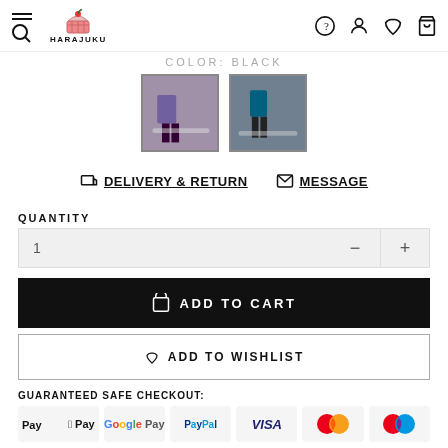HARAJUKU navigation header with logo, hamburger/search, and icons
COLOR: BLACK
[Figure (photo): Two product thumbnail images showing clothing items]
DELIVERY & RETURN   MESSAGE
QUANTITY
1 - +
ADD TO CART
ADD TO WISHLIST
GUARANTEED SAFE CHECKOUT:
[Figure (infographic): Payment method logos: Apple Pay, Google Pay, PayPal, VISA, Mastercard, Maestro]